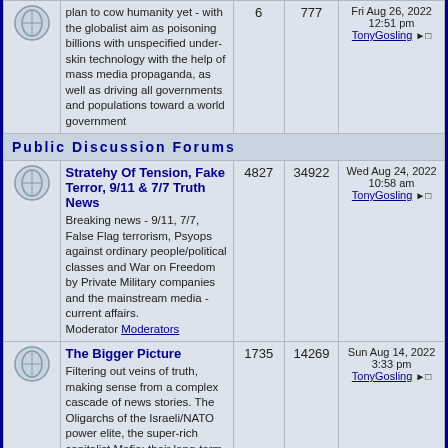| Icon | Forum | Posts | Views | Last Post |
| --- | --- | --- | --- | --- |
| [icon] | plan to cow humanity yet - with the globalist aim as poisoning billions with unspecified under-skin technology with the help of mass media propaganda, as well as driving all governments and populations toward a world government | 6 | 777 | Fri Aug 26, 2022 12:51 pm TonyGosling |
| [section] | Public Discussion Forums |  |  |  |
| [icon] | Stratehy Of Tension, Fake Terror, 9/11 & 7/7 Truth News - Breaking news - 9/11, 7/7, False Flag terrorism, Psyops against ordinary people/political classes and War on Freedom by Private Military companies and the mainstream media - current affairs. Moderator Moderators | 4827 | 34922 | Wed Aug 24, 2022 10:58 am TonyGosling |
| [icon] | The Bigger Picture - Filtering out veins of truth, making sense from a complex cascade of news stories. The Oligarchs of the Israeli/NATO power elite, the super-rich capitalist Mafia: their long-term strategems, their lies; and their downfall... Looking forward, with | 1735 | 14269 | Sun Aug 14, 2022 3:33 pm TonyGosling |